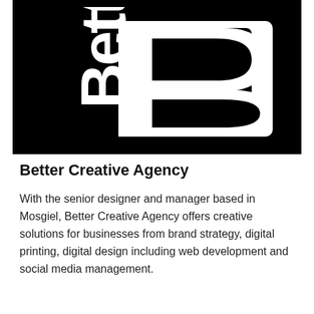[Figure (logo): Better Creative Agency logo: white stylized letters 'Bett' on left and a large stylized letter 'B' on right, all on black background]
Better Creative Agency
With the senior designer and manager based in Mosgiel, Better Creative Agency offers creative solutions for businesses from brand strategy, digital printing, digital design including web development and social media management.